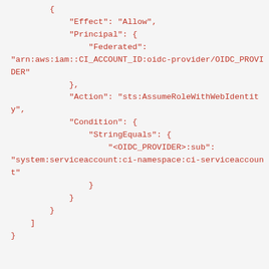{
            "Effect": "Allow",
            "Principal": {
                "Federated":
"arn:aws:iam::CI_ACCOUNT_ID:oidc-provider/OIDC_PROVIDER"
            },
            "Action": "sts:AssumeRoleWithWebIdentity",
            "Condition": {
                "StringEquals": {
                    "<OIDC_PROVIDER>:sub":
"system:serviceaccount:ci-namespace:ci-serviceaccount"
                }
            }
        }
    ]
}